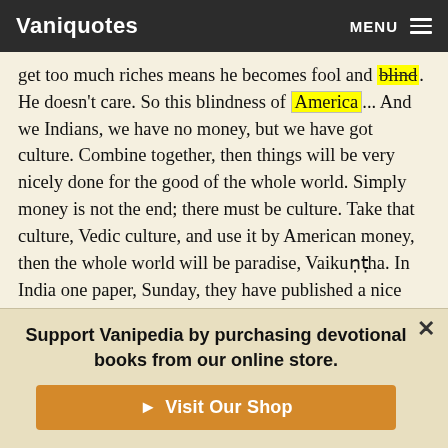Vaniquotes | MENU
get too much riches means he becomes fool and blind. He doesn't care. So this blindness of America... And we Indians, we have no money, but we have got culture. Combine together, then things will be very nicely done for the good of the whole world. Simply money is not the end; there must be culture. Take that culture, Vedic culture, and use it by American money, then the whole world will be paradise, Vaikuṇṭha. In India one paper, Sunday, they have published a nice article about us: "Kṛṣṇa Consciousness Catches On."
As I say always, the lame man meets the blind man. Together
Support Vanipedia by purchasing devotional books from our online store.
Visit Our Shop